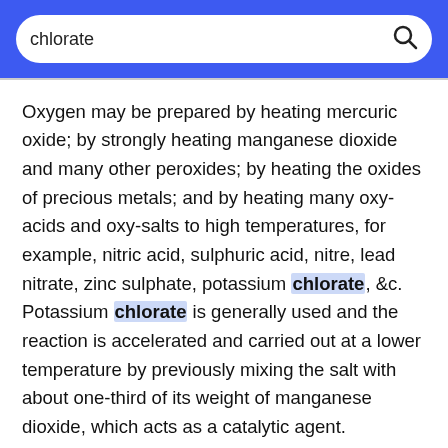[Figure (screenshot): Search bar with blue background, white rounded input containing the text 'chlorate' and a magnifying glass icon on the right.]
Oxygen may be prepared by heating mercuric oxide; by strongly heating manganese dioxide and many other peroxides; by heating the oxides of precious metals; and by heating many oxy-acids and oxy-salts to high temperatures, for example, nitric acid, sulphuric acid, nitre, lead nitrate, zinc sulphate, potassium chlorate, &c. Potassium chlorate is generally used and the reaction is accelerated and carried out at a lower temperature by previously mixing the salt with about one-third of its weight of manganese dioxide, which acts as a catalytic agent.